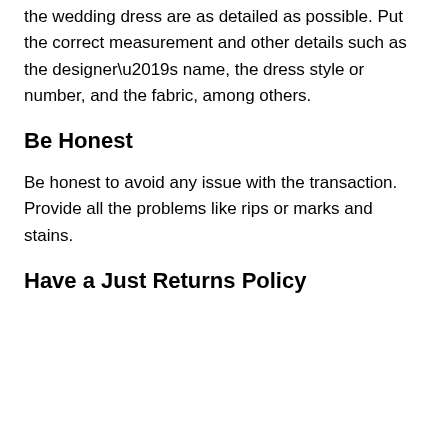the wedding dress are as detailed as possible. Put the correct measurement and other details such as the designer's name, the dress style or number, and the fabric, among others.
Be Honest
Be honest to avoid any issue with the transaction. Provide all the problems like rips or marks and stains.
Have a Just Returns Policy